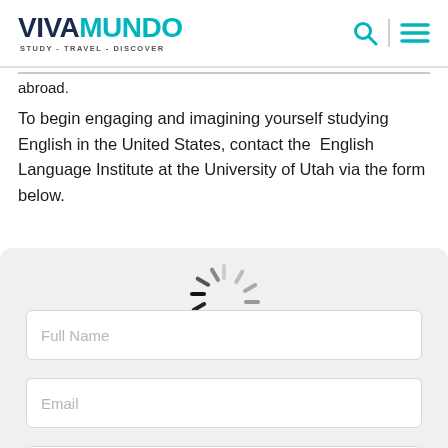VIVAMUNDO - STUDY - TRAVEL - DISCOVER
abroad.
To begin engaging and imagining yourself studying English in the United States, contact the English Language Institute at the University of Utah via the form below.
[Figure (screenshot): Web contact form with fields: Full Name, Email, Telephone, Nationality, Questions. A loading spinner overlay is visible. A scroll-to-top button appears at lower right.]